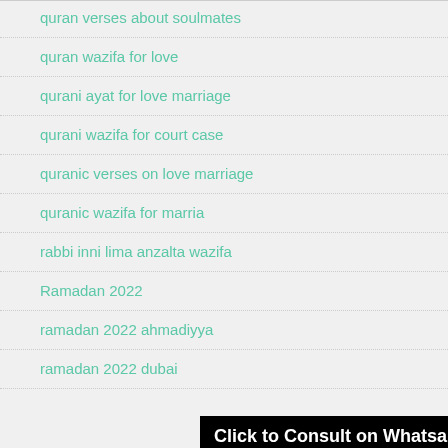quran verses about soulmates
quran wazifa for love
qurani ayat for love marriage
qurani wazifa for court case
quranic verses on love marriage
quranic wazifa for marriage
rabbi inni lima anzalta wazifa
Ramadan 2022
ramadan 2022 ahmadiyya
ramadan 2022 dubai